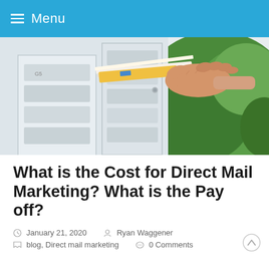≡ Menu
[Figure (photo): A hand pulling mail and envelopes from a metal mailbox outdoors, with green foliage in background]
What is the Cost for Direct Mail Marketing? What is the Pay off?
January 21, 2020   Ryan Waggener
blog, Direct mail marketing   0 Comments